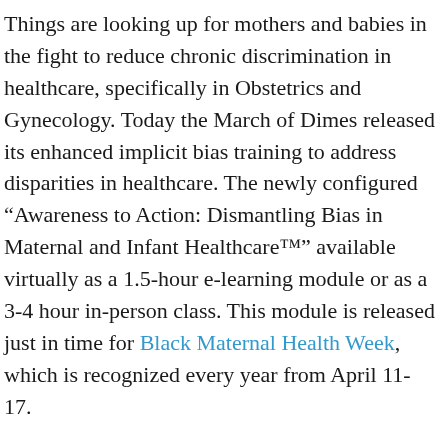Things are looking up for mothers and babies in the fight to reduce chronic discrimination in healthcare, specifically in Obstetrics and Gynecology. Today the March of Dimes released its enhanced implicit bias training to address disparities in healthcare. The newly configured “Awareness to Action: Dismantling Bias in Maternal and Infant Healthcare™” available virtually as a 1.5-hour e-learning module or as a 3-4 hour in-person class. This module is released just in time for Black Maternal Health Week, which is recognized every year from April 11-17.
According to the March of Dimes, “the U.S. remains among the most dangerous developed nations for women to give birth.” The latest 2021 March of Dimes Report Card shows Black, American Indian, and Alaska Native women and their babies, consistently